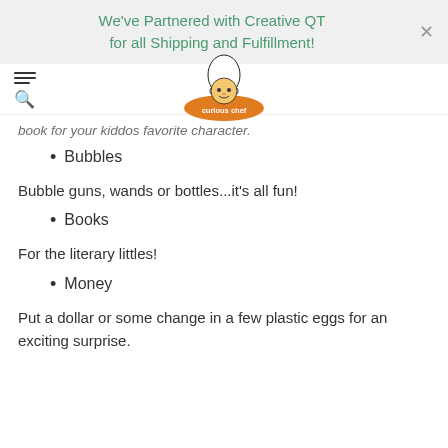We've Partnered with Creative QT for all Shipping and Fulfillment!
[Figure (logo): Curious Chef logo - cartoon chef character on an orange oval badge]
book for your kiddos favorite character.
Bubbles
Bubble guns, wands or bottles...it's all fun!
Books
For the literary littles!
Money
Put a dollar or some change in a few plastic eggs for an exciting surprise.